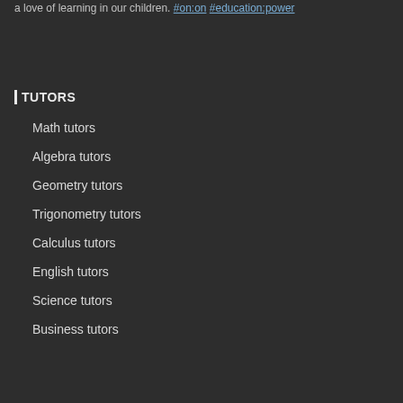a love of learning in our children. #on:on #education:power
TUTORS
Math tutors
Algebra tutors
Geometry tutors
Trigonometry tutors
Calculus tutors
English tutors
Science tutors
Business tutors